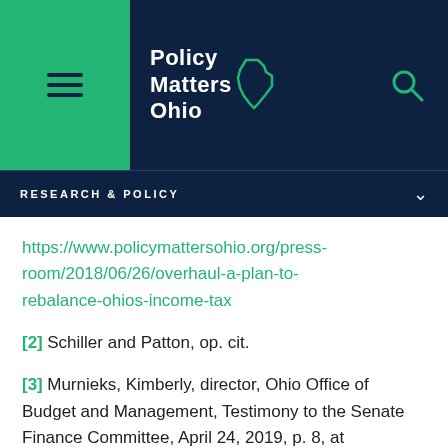Policy Matters Ohio — RESEARCH & POLICY
https://www.policymattersohio.org/press-room/2018/06/26/overhaul-a-plan-to-rebalance-ohios-income-tax
[2] Schiller and Patton, op. cit.
[3] Murnieks, Kimberly, director, Ohio Office of Budget and Management, Testimony to the Senate Finance Committee, April 24, 2019, p. 8, at http://www.ohiosenate.gov/committees/finance/doc archive